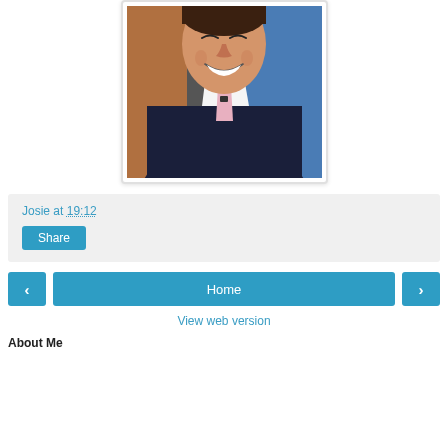[Figure (photo): A smiling man in a dark suit with a pink tie, photographed from the chest up, against a blue and brown background.]
Josie at 19:12
Share
Home
View web version
About Me